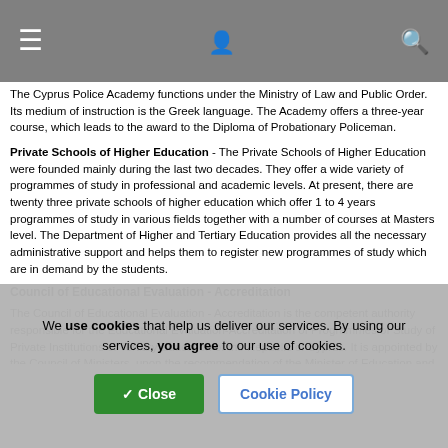[Navigation bar with menu, user, and search icons]
The Cyprus Police Academy functions under the Ministry of Law and Public Order. Its medium of instruction is the Greek language. The Academy offers a three-year course, which leads to the award to the Diploma of Probationary Policeman.
Private Schools of Higher Education - The Private Schools of Higher Education were founded mainly during the last two decades. They offer a wide variety of programmes of study in professional and academic levels. At present, there are twenty three private schools of higher education which offer 1 to 4 years programmes of study in various fields together with a number of courses at Masters level. The Department of Higher and Tertiary Education provides all the necessary administrative support and helps them to register new programmes of study which are in demand by the students.
Council of Educational Evaluation - Accreditation
The Council of Educational Evaluation - Accreditation is the competent authority responsible for the Educational Evaluation-Accreditation of Programmes of Study of Private Institutions of Tertiary Education of the Republic of Cyprus. It is appointed by the Council of Ministers, upon the recommendation of the Minister of Education and Culture, for a five-year
We use cookies that help us deliver our services. By using our services, you agree to our use of cookies.